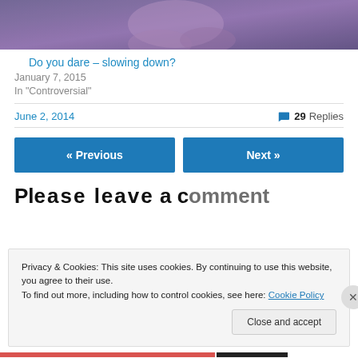[Figure (photo): Partial photo of a person in yoga/prayer pose wearing purple clothing]
Do you dare – slowing down?
January 7, 2015
In "Controversial"
June 2, 2014
29 Replies
« Previous
Next »
Pl...
Privacy & Cookies: This site uses cookies. By continuing to use this website, you agree to their use.
To find out more, including how to control cookies, see here: Cookie Policy
Close and accept